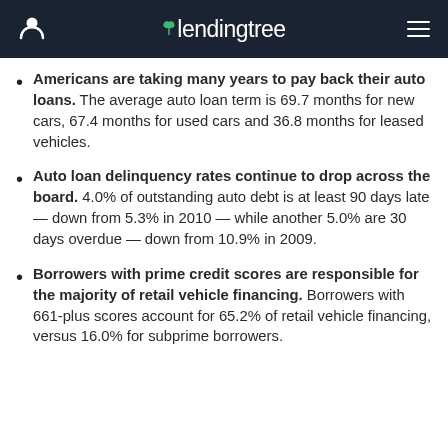lendingtree
Americans are taking many years to pay back their auto loans. The average auto loan term is 69.7 months for new cars, 67.4 months for used cars and 36.8 months for leased vehicles.
Auto loan delinquency rates continue to drop across the board. 4.0% of outstanding auto debt is at least 90 days late — down from 5.3% in 2010 — while another 5.0% are 30 days overdue — down from 10.9% in 2009.
Borrowers with prime credit scores are responsible for the majority of retail vehicle financing. Borrowers with 661-plus scores account for 65.2% of retail vehicle financing, versus 16.0% for subprime borrowers.